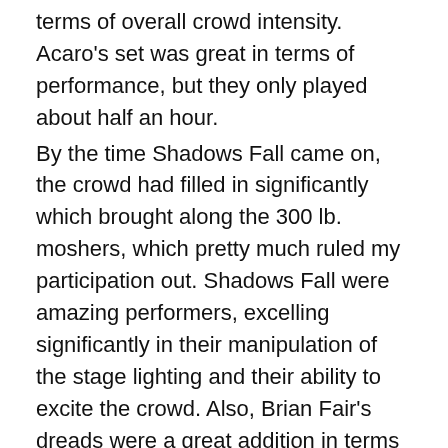terms of overall crowd intensity. Acaro's set was great in terms of performance, but they only played about half an hour. By the time Shadows Fall came on, the crowd had filled in significantly which brought along the 300 lb. moshers, which pretty much ruled my participation out. Shadows Fall were amazing performers, excelling significantly in their manipulation of the stage lighting and their ability to excite the crowd. Also, Brian Fair's dreads were a great addition in terms of the visual aspect of the set. The crowd was great as well, people had started to stagedive and be more involved in the metal experience. (editor's note: DD did plenty of stagediving his own self) After two great acts, Killswitch Engage performed and did a damn good job of it too. Killswitch Engage started with some Howard Jones-era songs, which was really quite